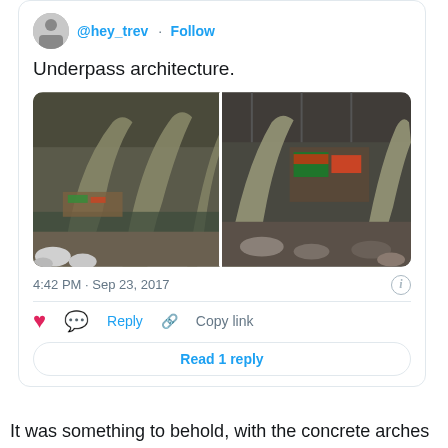@hey_trev · Follow
Underpass architecture.
[Figure (photo): Two side-by-side photos of underpass architecture showing concrete arches, graffiti on walls, and rocky ground below. Left image shows arches with water reflection and snow-covered rocks in foreground. Right image shows similar arches from a different angle with colorful graffiti visible.]
4:42 PM · Sep 23, 2017
Reply   Copy link
Read 1 reply
It was something to behold, with the concrete arches